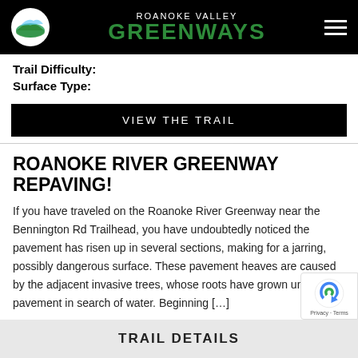ROANOKE VALLEY GREENWAYS
Trail Difficulty:
Surface Type:
VIEW THE TRAIL
ROANOKE RIVER GREENWAY REPAVING!
If you have traveled on the Roanoke River Greenway near the Bennington Rd Trailhead, you have undoubtedly noticed the pavement has risen up in several sections, making for a jarring, possibly dangerous surface. These pavement heaves are caused by the adjacent invasive trees, whose roots have grown under the pavement in search of water. Beginning […]
TRAIL DETAILS